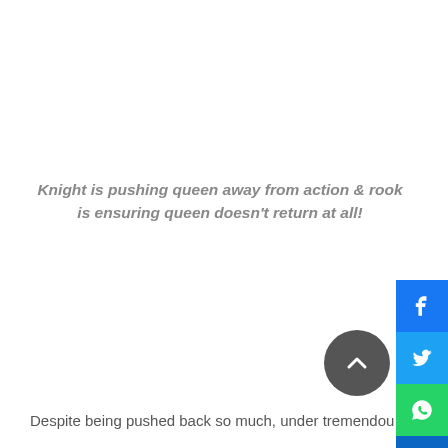Knight is pushing queen away from action & rook is ensuring queen doesn't return at all!
[Figure (infographic): Social media sharing icons (Facebook, Twitter, WhatsApp, LinkedIn, Email) arranged vertically on the right side, plus a scroll-up circular button]
Despite being pushed back so much, under tremendou